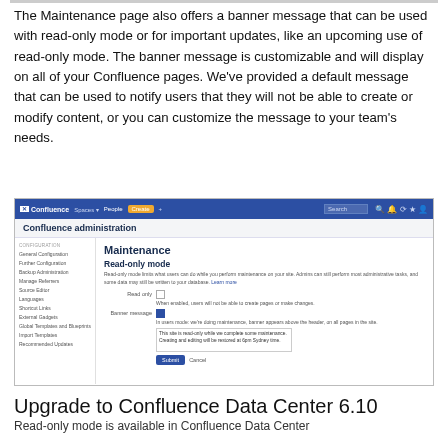The Maintenance page also offers a banner message that can be used with read-only mode or for important updates, like an upcoming use of read-only mode. The banner message is customizable and will display on all of your Confluence pages. We've provided a default message that can be used to notify users that they will not be able to create or modify content, or you can customize the message to your team's needs.
[Figure (screenshot): Screenshot of Confluence administration Maintenance page showing Read-only mode and Banner message settings with a text area containing a default message and Submit/Cancel buttons.]
Upgrade to Confluence Data Center 6.10
Read-only mode is available in Confluence Data Center